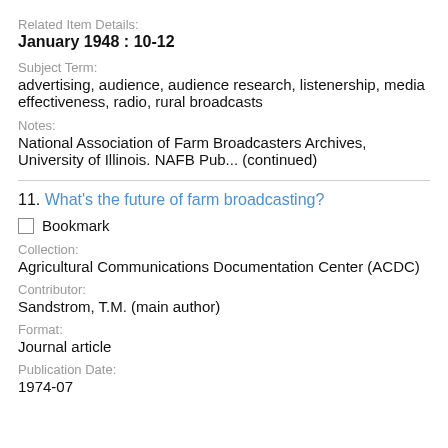Related Item Details:
January 1948 : 10-12
Subject Term:
advertising, audience, audience research, listenership, media effectiveness, radio, rural broadcasts
Notes:
National Association of Farm Broadcasters Archives, University of Illinois. NAFB Pub... (continued)
11. What's the future of farm broadcasting?
Bookmark
Collection:
Agricultural Communications Documentation Center (ACDC)
Contributor:
Sandstrom, T.M. (main author)
Format:
Journal article
Publication Date:
1974-07